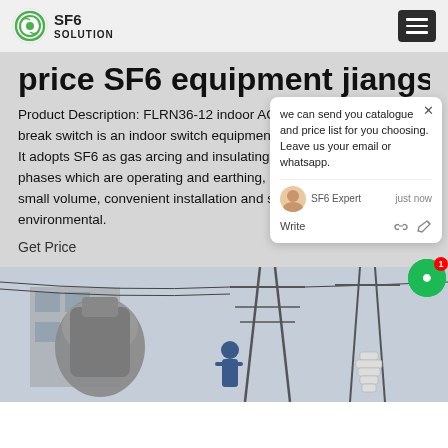SF6 SOLUTION
price SF6 equipment jiangsu
Product Description: FLRN36-12 indoor AC high-voltage SF6 load break switch is an indoor switch equipment with 12kV rated voltage. It adopts SF6 as gas arcing and insulating medium, including three phases which are operating and earthing, It has the advantages of small volume, convenient installation and strong adaptability to the environmental.
Get Price
[Figure (photo): Outdoor electrical substation equipment with worker in blue workwear visible among high-voltage infrastructure including power lines and large grey electrical components]